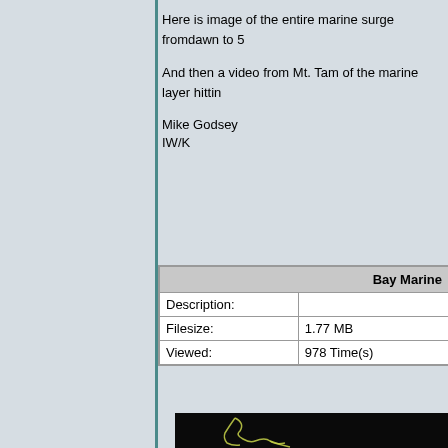Here is image of the entire marine surge fromdawn to 5
And then a video from Mt. Tam of the marine layer hittin
Mike Godsey
IW/K
| Bay Marine |
| --- |
| Description: |  |
| Filesize: | 1.77 MB |
| Viewed: | 978 Time(s) |
[Figure (photo): Satellite or aerial map image showing a glowing yellow-green coastline outline against a dark/black background, depicting a marine surge area.]